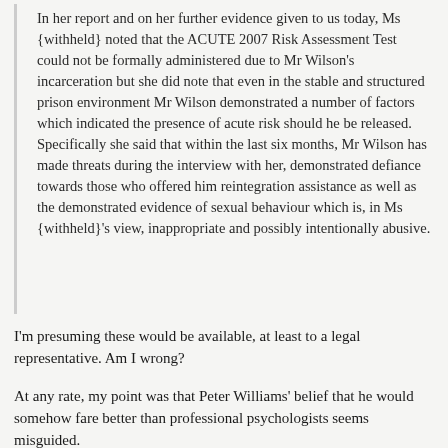In her report and on her further evidence given to us today, Ms {withheld} noted that the ACUTE 2007 Risk Assessment Test could not be formally administered due to Mr Wilson's incarceration but she did note that even in the stable and structured prison environment Mr Wilson demonstrated a number of factors which indicated the presence of acute risk should he be released. Specifically she said that within the last six months, Mr Wilson has made threats during the interview with her, demonstrated defiance towards those who offered him reintegration assistance as well as the demonstrated evidence of sexual behaviour which is, in Ms {withheld}'s view, inappropriate and possibly intentionally abusive.
I'm presuming these would be available, at least to a legal representative. Am I wrong?
At any rate, my point was that Peter Williams' belief that he would somehow fare better than professional psychologists seems misguided.